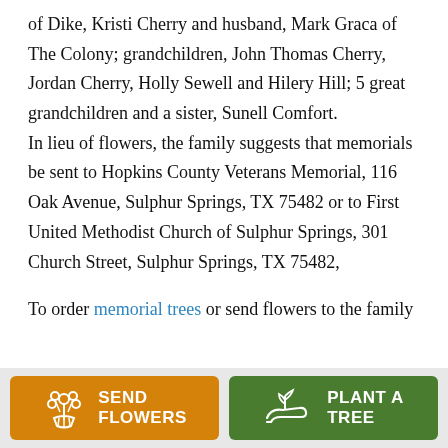of Dike, Kristi Cherry and husband, Mark Graca of The Colony; grandchildren, John Thomas Cherry, Jordan Cherry, Holly Sewell and Hilery Hill; 5 great grandchildren and a sister, Sunell Comfort.
In lieu of flowers, the family suggests that memorials be sent to Hopkins County Veterans Memorial, 116 Oak Avenue, Sulphur Springs, TX 75482 or to First United Methodist Church of Sulphur Springs, 301 Church Street, Sulphur Springs, TX 75482,

To order memorial trees or send flowers to the family
SEND FLOWERS | PLANT A TREE